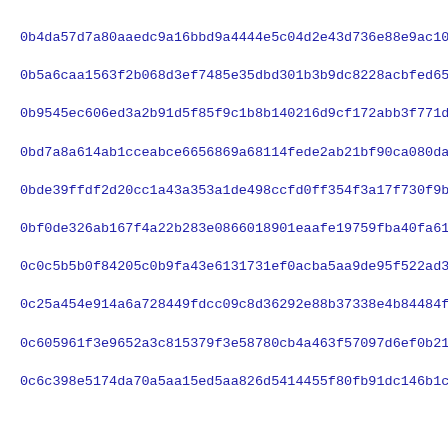0b4da57d7a80aaedc9a16bbd9a4444e5c04d2e43d736e88e9ac10d729470f
0b5a6caa1563f2b068d3ef7485e35dbd301b3b9dc8228acbfed653dd4104c
0b9545ec606ed3a2b91d5f85f9c1b8b140216d9cf172abb3f771dfc65d35a
0bd7a8a614ab1cceabce6656869a68114fede2ab21bf90ca080da2bce5013
0bde39ffdf2d20cc1a43a353a1de498ccfd0ff354f3a17f730f9b04c20ff8
0bf0de326ab167f4a22b283e0866018901eaafe19759fba40fa6159238433
0c0c5b5b0f84205c0b9fa43e6131731ef0acba5aa9de95f522ad36ed77166
0c25a454e914a6a728449fdcc09c8d36292e88b37338e4b84484f7d693569
0c605961f3e9652a3c815379f3e58780cb4a463f57097d6ef0b210a7a5f3c
0c6c398e5174da70a5aa15ed5aa826d5414455f80fb91dc146b1c0c67cb6d